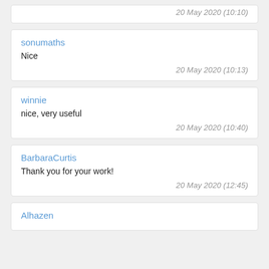20 May 2020 (10:10)
sonumaths
Nice
20 May 2020 (10:13)
winnie
nice, very useful
20 May 2020 (10:40)
BarbaraCurtis
Thank you for your work!
20 May 2020 (12:45)
Alhazen